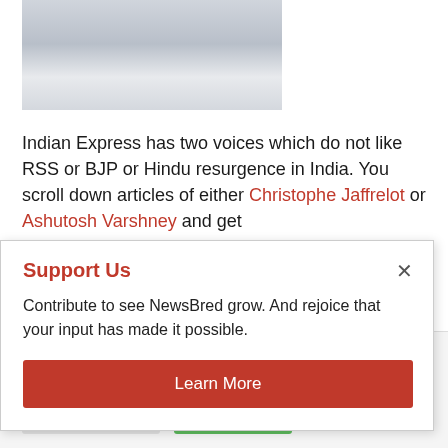[Figure (photo): Partial photo of a person in white clothing, top portion of image visible]
Indian Express has two voices which do not like RSS or BJP or Hindu resurgence in India. You scroll down articles of either Christophe Jaffrelot or Ashutosh Varshney and get
Support Us
Contribute to see NewsBred grow. And rejoice that your input has made it possible.
Learn More
use of ALL the cookies. However, you may visit "Cookie Settings" to provide a controlled consent.
Cookie Settings   Accept All